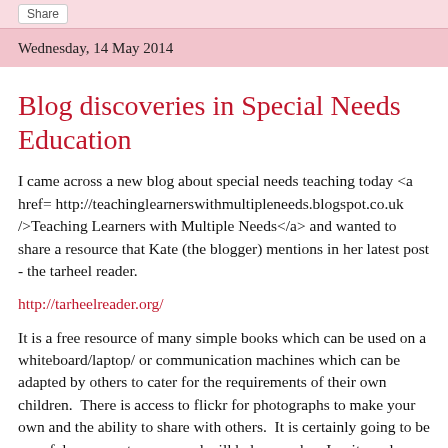Share
Wednesday, 14 May 2014
Blog discoveries in Special Needs Education
I came across a new blog about special needs teaching today <a href= http://teachinglearnerswithmultipleneeds.blogspot.co.uk />Teaching Learners with Multiple Needs</a> and wanted to share a resource that Kate (the blogger) mentions in her latest post - the tarheel reader.
http://tarheelreader.org/
It is a free resource of many simple books which can be used on a whiteboard/laptop/ or communication machines which can be adapted by others to cater for the requirements of their own children.  There is access to flickr for photographs to make your own and the ability to share with others.  It is certainly going to be a useful resource to many and will help me when I write and illustrate my own books (which I often have to do for the children)